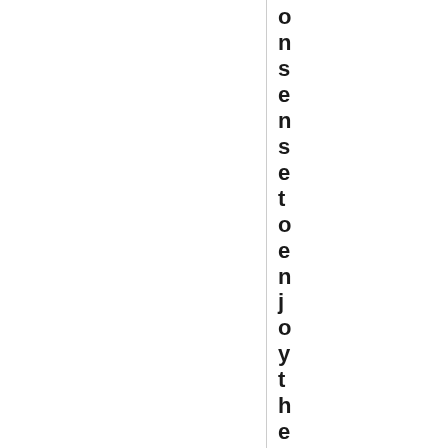onsensetoenjoythese abreeze inth